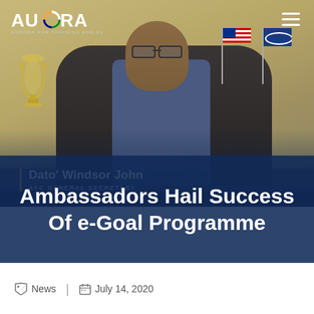[Figure (photo): Screenshot of Aurora for Training and Development website showing a man in a suit identified as Dato' Windsor John, AFC General Secretary, seated at a desk with flags in the background. The page header shows the Aurora logo and a hamburger menu icon.]
Ambassadors Hail Success Of e-Goal Programme
News  |  July 14, 2020